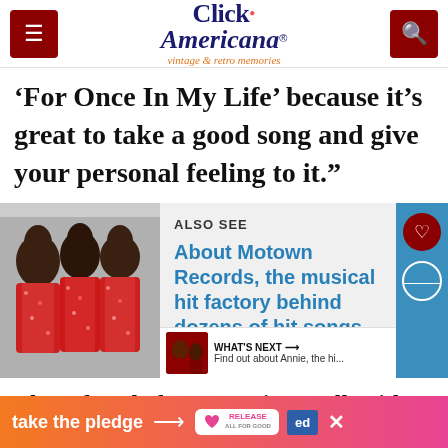Click Americana — vintage & retro memories
‘For Once In My Life’ because it’s great to take a good song and give your personal feeling to it.”
[Figure (photo): Photo of women in sparkly red dresses, likely The Supremes or similar Motown group]
ALSO SEE
About Motown Records, the musical hit factory behind dozens of hit songs
WHAT'S NEXT → Find out about Annie, the hi...
Three female fans came in to talk with St...
take the pledge →